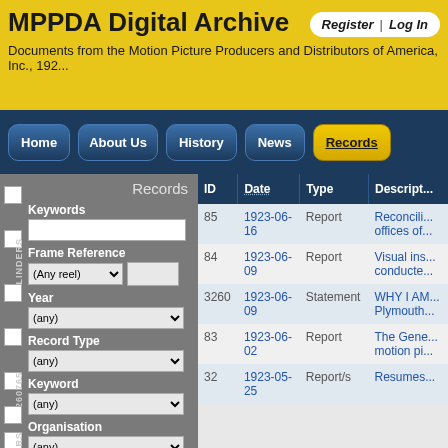MPPDA Digital Archive
Documents from the Motion Picture Producers and Distributors of America, Inc., 192...
Register | Log In
Records
| ID | Date | Type | Descript... |
| --- | --- | --- | --- |
| 85 | 1923-06-16 | Report | Reconcili... offices of... |
| 84 | 1923-06-09 | Report | Visual ins... conducte... |
| 3260 | 1923-06-09 | Statement | WHY I AM... Plymouth... |
| 83 | 1923-06-02 | Report | The Gene... motion pi... |
| 32 | 1923-05-25 | Report/s | Resumes... |